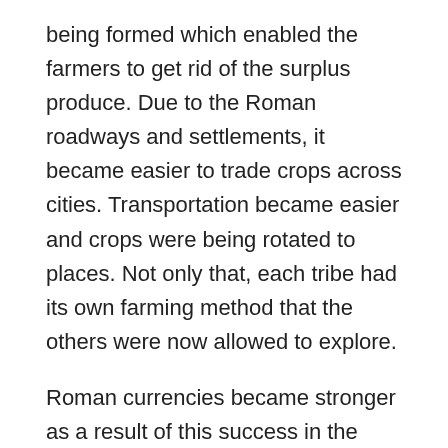being formed which enabled the farmers to get rid of the surplus produce. Due to the Roman roadways and settlements, it became easier to trade crops across cities. Transportation became easier and crops were being rotated to places. Not only that, each tribe had its own farming method that the others were now allowed to explore.
Roman currencies became stronger as a result of this success in the production and distribution of crops. The currency system was revived and people could exchange new currency in place of old.
However, due to the new Roman towns and settlements, people were concentrated in one commercial area. This meant that there were fewer people working on Roman Britain farm. The Roman